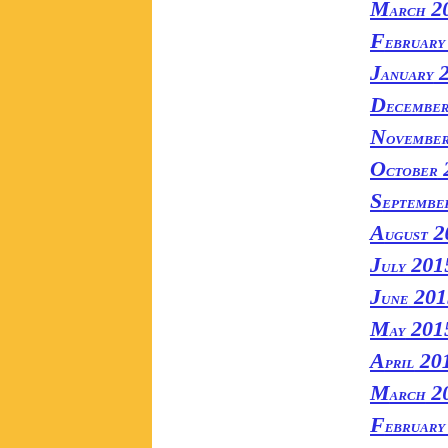[Figure (other): Yellow vertical bar/sidebar on the left side of the page]
March 2016
February 2016
January 2016
December 2015
November 2015
October 2015
September 2015
August 2015
July 2015
June 2015
May 2015
April 2015
March 2015
February 2015